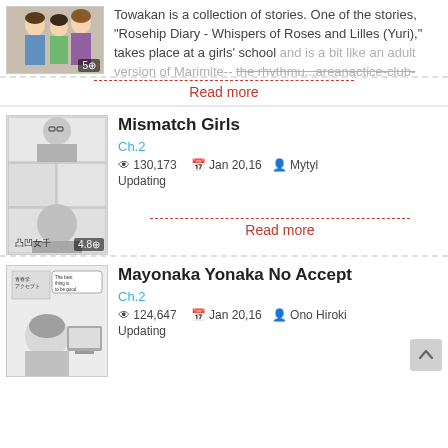Towakan is a collection of stories. One of the stories, "Rosehip Diary - Whispers of Roses and Lilles (Yuri)," takes place at a girls' school and is a bit like an adult version of Marimite-- the rhythmu...areanactice-club-baka system in
Read more
Mismatch Girls
Ch.2
130,173   Jan 20,16   Mytyl   Updating
Read more
Mayonaka Yonaka No Accept
Ch.2
124,647   Jan 20,16   Ono Hiroki   Updating